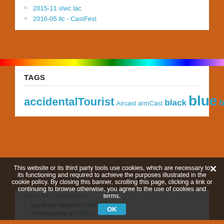2015-11 slwc lac
2016-05 llc - CastFest
TAGS
accidentalTourist Aircast armCast black blue brace BrokenArm BrokenLeg CastCamp CastFest castshoe combo crutches dLATS DSS fibercast green Helmü kneebrace LAC LATS legcast LLC LLWC MediM4s orange pink plastercast red SAC SAFS SATS SLC SLWC softcast SSS term toeplate videos Walker walkingheel white xxx xxxVideos yellow
This website or its third party tools use cookies, which are necessary to its functioning and required to achieve the purposes illustrated in the cookie policy. By closing this banner, scrolling this page, clicking a link or continuing to browse otherwise, you agree to the use of cookies and terms.
RECENT COMMENTS
gay-skater-caster on 2006-12 slwc
skinyaugsburg on 2006-12 slwc